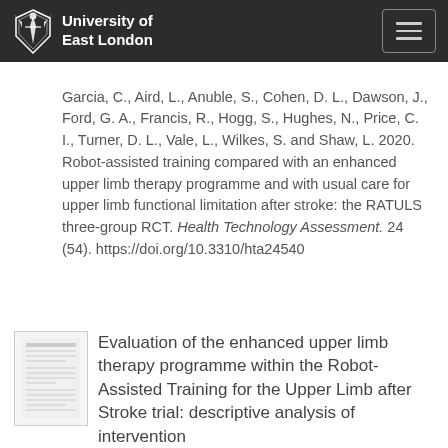University of East London
Garcia, C., Aird, L., Anuble, S., Cohen, D. L., Dawson, J., Ford, G. A., Francis, R., Hogg, S., Hughes, N., Price, C. I., Turner, D. L., Vale, L., Wilkes, S. and Shaw, L. 2020. Robot-assisted training compared with an enhanced upper limb therapy programme and with usual care for upper limb functional limitation after stroke: the RATULS three-group RCT. Health Technology Assessment. 24 (54). https://doi.org/10.3310/hta24540
Evaluation of the enhanced upper limb therapy programme within the Robot-Assisted Training for the Upper Limb after Stroke trial: descriptive analysis of intervention